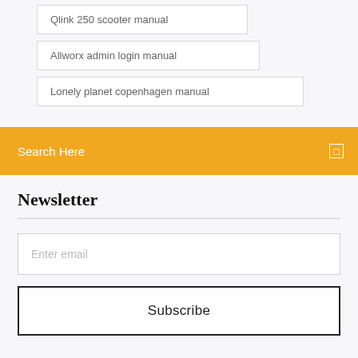Qlink 250 scooter manual
Allworx admin login manual
Lonely planet copenhagen manual
Search Here
Newsletter
Enter email
Subscribe